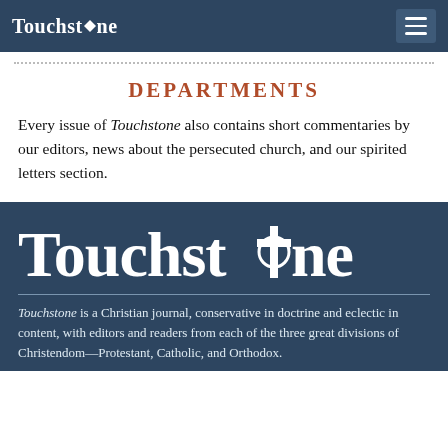Touchstone
DEPARTMENTS
Every issue of Touchstone also contains short commentaries by our editors, news about the persecuted church, and our spirited letters section.
[Figure (logo): Touchstone logo in large white bold serif text with a cross symbol replacing the 'o' in 'stone', on dark navy background]
Touchstone is a Christian journal, conservative in doctrine and eclectic in content, with editors and readers from each of the three great divisions of Christendom—Protestant, Catholic, and Orthodox.